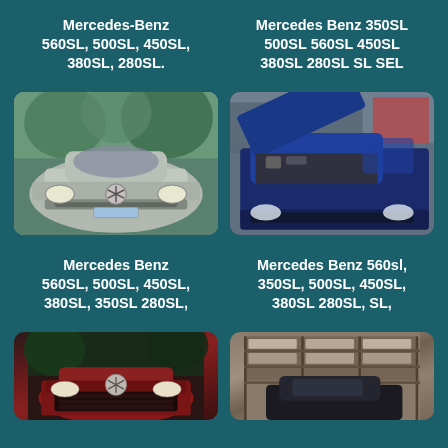Mercedes-Benz 560SL, 500SL, 450SL, 380SL, 280SL.
Mercedes Benz 350SL 500SL 560SL 450SL 380SL 280SL SL SEL
[Figure (photo): Front view of a silver Mercedes-Benz SL convertible]
[Figure (photo): Blue Mercedes-Benz SL with hood open in a warehouse]
Mercedes Benz 560SL, 500SL, 450SL, 380SL, 350SL 280SL,
Mercedes Benz 560sl, 350SL, 500SL, 450SL, 380SL 280SL, SL,
[Figure (photo): Front view of a red Mercedes-Benz SL]
[Figure (photo): Black Mercedes-Benz SL in a warehouse with shelving]